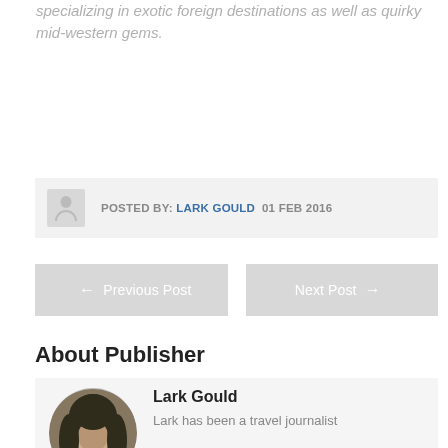specializing in exotic foreign destinations as well as quirky mid-western gems.
POSTED BY: LARK GOULD  01 FEB 2016
← Previous Post
Next Post →
About Publisher
Lark Gould
Lark has been a travel journalist